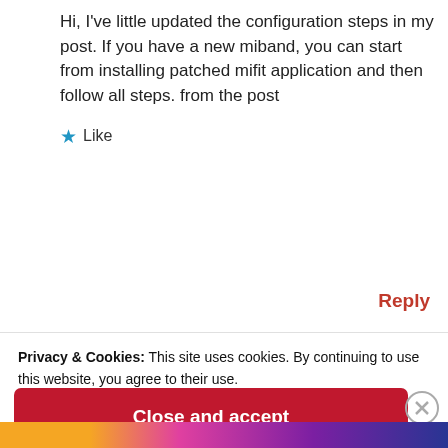Hi, I've little updated the configuration steps in my post. If you have a new miband, you can start from installing patched mifit application and then follow all steps. from the post
★ Like
Reply
Privacy & Cookies: This site uses cookies. By continuing to use this website, you agree to their use.
To find out more, including how to control cookies, see here:
Cookie Policy
Close and accept